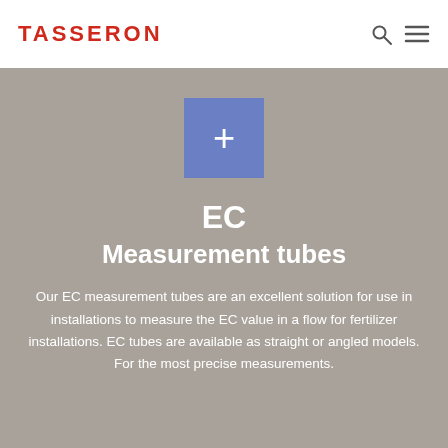TASSERON
[Figure (other): Blue square button with a white plus (+) sign in the center]
EC
Measurement tubes
Our EC measurement tubes are an excellent solution for use in installations to measure the EC value in a flow for fertilizer installations. EC tubes are available as straight or angled models. For the most precise measurements.